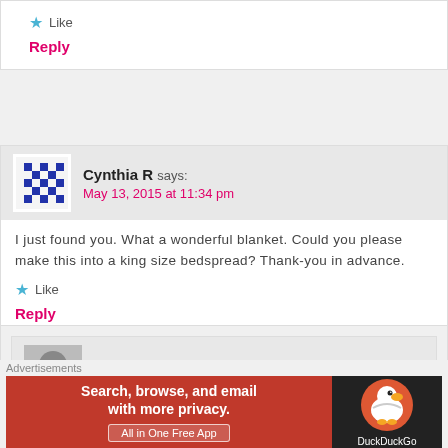★ Like
Reply
Cynthia R says: May 13, 2015 at 11:34 pm
I just found you. What a wonderful blanket. Could you please make this into a king size bedspread? Thank-you in advance.
★ Like
Reply
HannahDavis says: May 19, 2015 at 6:12 pm
I'm honestly not sure, you'll have to experiment becaus
Advertisements
[Figure (screenshot): DuckDuckGo advertisement banner: Search, browse, and email with more privacy. All in One Free App.]